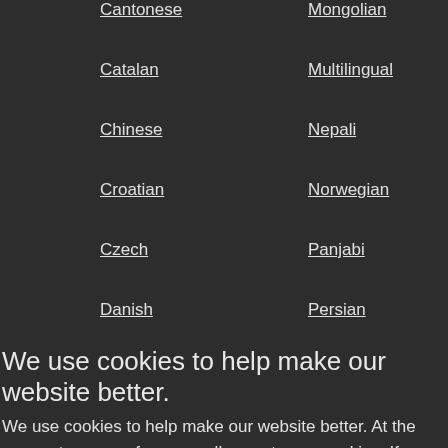Cantonese
Mongolian
Catalan
Multilingual
Chinese
Nepali
Croatian
Norwegian
Czech
Panjabi
Danish
Persian
We use cookies to help make our website better.
We use cookies to help make our website better. At the moment, your preferences allow us to use cookies. If you are happy with this please click here or simply continue to use our website. Otherwise find out more and amend your preferences here.